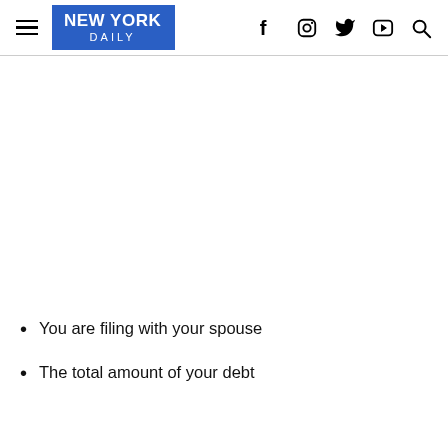NEW YORK DAILY — navigation header with social icons
You are filing with your spouse
The total amount of your debt